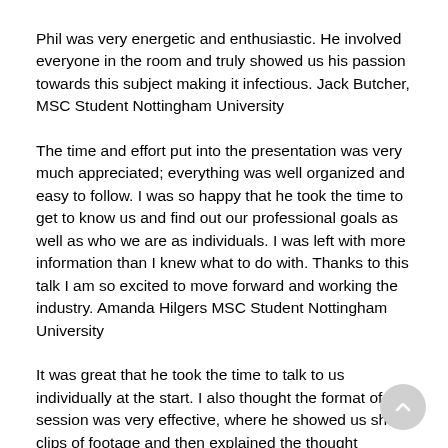Phil was very energetic and enthusiastic. He involved everyone in the room and truly showed us his passion towards this subject making it infectious. Jack Butcher, MSC Student Nottingham University
The time and effort put into the presentation was very much appreciated; everything was well organized and easy to follow. I was so happy that he took the time to get to know us and find out our professional goals as well as who we are as individuals. I was left with more information than I knew what to do with. Thanks to this talk I am so excited to move forward and working the industry. Amanda Hilgers MSC Student Nottingham University
It was great that he took the time to talk to us individually at the start. I also thought the format of the session was very effective, where he showed us short clips of footage and then explained the thought process behind them. The notes that he left have also been useful, and meant that we could enjoy/focus on the presentation without having to worry too much about writing everything down! If he is ever planning on doing more talks in the